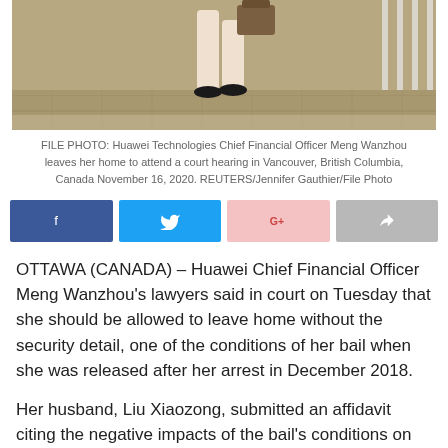[Figure (photo): FILE PHOTO showing legs walking on a brick surface, person carrying a bag, photographed from below waist level outdoors]
FILE PHOTO: Huawei Technologies Chief Financial Officer Meng Wanzhou leaves her home to attend a court hearing in Vancouver, British Columbia, Canada November 16, 2020. REUTERS/Jennifer Gauthier/File Photo
[Figure (infographic): Social sharing buttons: Facebook, Twitter, Google+, Share]
OTTAWA (CANADA) – Huawei Chief Financial Officer Meng Wanzhou's lawyers said in court on Tuesday that she should be allowed to leave home without the security detail, one of the conditions of her bail when she was released after her arrest in December 2018.
Her husband, Liu Xiaozong, submitted an affidavit citing the negative impacts of the bail's conditions on his wife and family.